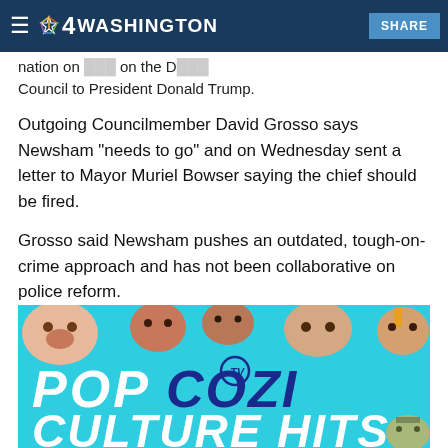NBC4 Washington — SHARE
nation on... on the D... Council to President Donald Trump.
Outgoing Councilmember David Grosso says Newsham "needs to go" and on Wednesday sent a letter to Mayor Muriel Bowser saying the chief should be fired.
Grosso said Newsham pushes an outdated, tough-on-crime approach and has not been collaborative on police reform.
[Figure (illustration): Advertisement banner for Cozi TV showing 'POP COZI TV CULTURE HITS' text with cartoon faces on a teal/cyan background]